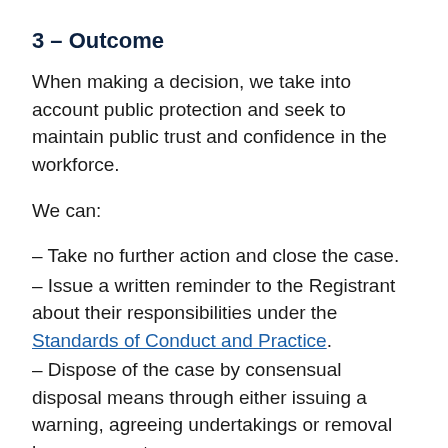3 – Outcome
When making a decision, we take into account public protection and seek to maintain public trust and confidence in the workforce.
We can:
– Take no further action and close the case.
– Issue a written reminder to the Registrant about their responsibilities under the Standards of Conduct and Practice.
– Dispose of the case by consensual disposal means through either issuing a warning, agreeing undertakings or removal by agreement.
– Forward the case for consideration by the